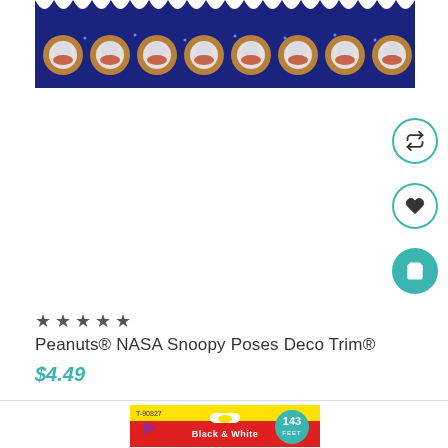[Figure (photo): Peanuts NASA Snoopy Poses Deco Trim decorative border strip on dark navy blue background with scalloped top edge, showing repeated Snoopy astronaut illustrations]
★ ★ ★ ★ ★
Peanuts® NASA Snoopy Poses Deco Trim®
$4.49
[Figure (photo): TREND product packaging (T-90827) with yellow top and red bottom, 143 feet label in teal circle, showing Black & White product packaging]